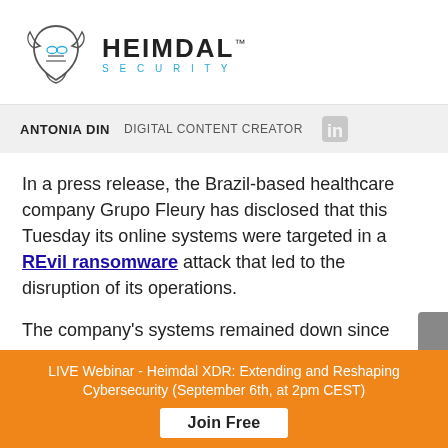[Figure (logo): Heimdal Security logo with helmet illustration and wordmark]
ANTONIA DIN   DIGITAL CONTENT CREATOR
In a press release, the Brazil-based healthcare company Grupo Fleury has disclosed that this Tuesday its online systems were targeted in a REvil ransomware attack that led to the disruption of its operations.
The company’s systems remained down since then.
Grupo Fleury SA is a Brazilian organization located in São
LIVE Webinar - Heimdal XDR: Extending and Reshaping Cybersecurity (September 6th, at 2pm CEST)
Join Free